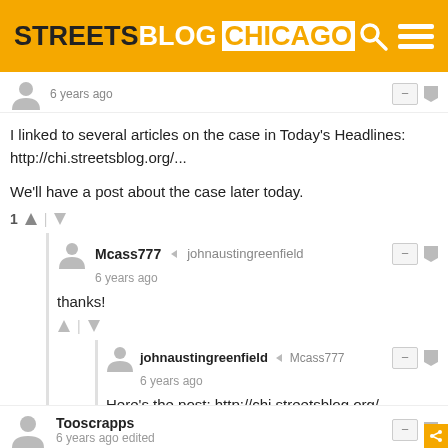[Figure (screenshot): StreetsBlog Chicago website header with orange background, logo text STREETS BLOG CHICAGO, search icon and hamburger menu icon]
I linked to several articles on the case in Today's Headlines: http://chi.streetsblog.org/...
We'll have a post about the case later today.
Mcass777 → johnaustingreenfield
6 years ago
thanks!
johnaustingreenfield → Mcass777
6 years ago
Here's the post: http://chi.streetsblog.org/...
Tooscrapps
6 years ago edited